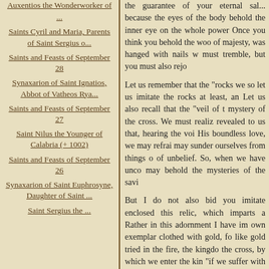Auxentios the Wonderworker of ...
Saints Cyril and Maria, Parents of Saint Sergius o...
Saints and Feasts of September 28
Synaxarion of Saint Ignatios, Abbot of Vatheos Rya...
Saints and Feasts of September 27
Saint Nilus the Younger of Calabria (+ 1002)
Saints and Feasts of September 26
Synaxarion of Saint Euphrosyne, Daughter of Saint ...
Saint Sergius the ...
the guarantee of your eternal sal... because the eyes of the body behold... the inner eye on the whole power... Once you think you behold the woo... of majesty, was hanged with nails w... must tremble, but you must also rejo...
Let us remember that the "rocks we... so let us imitate the rocks at least, an... Let us also recall that the "veil of t... mystery of the cross. We must realiz... revealed to us that, hearing the voi... His boundless love, we may refrai... may sunder ourselves from things o... of unbelief. So, when we have unco... may behold the mysteries of the savi...
But I do not also bid you imitate... enclosed this relic, which imparts a... Rather in this adornment I have im... own exemplar clothed with gold, fo... like gold tried in the fire, the kingdo... the cross, by which we enter the kin... "if we suffer with Him we shall also... not to strengthen your faith, because... because of the merit of your faith, ... word and now prove in action. This...